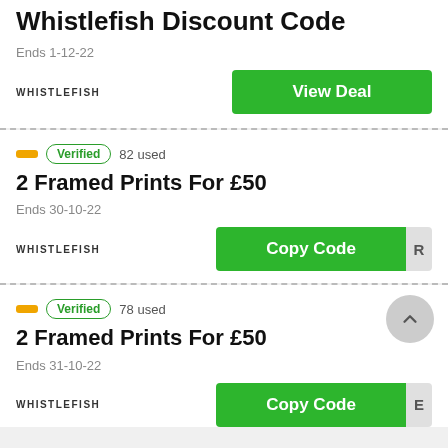Whistlefish Discount Code
Ends 1-12-22
View Deal
Verified  82 used
2 Framed Prints For £50
Ends 30-10-22
Copy Code
Verified  78 used
2 Framed Prints For £50
Ends 31-10-22
Copy Code